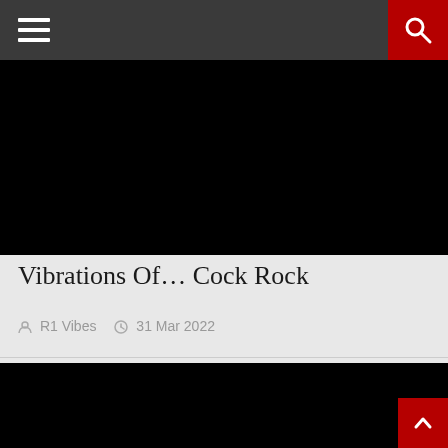Navigation header with hamburger menu and search button
[Figure (photo): Black image placeholder at the top of the article]
Vibrations Of… Cock Rock
R1 Vibes   31 Mar 2022
[Figure (photo): Black image placeholder for second article or content block]